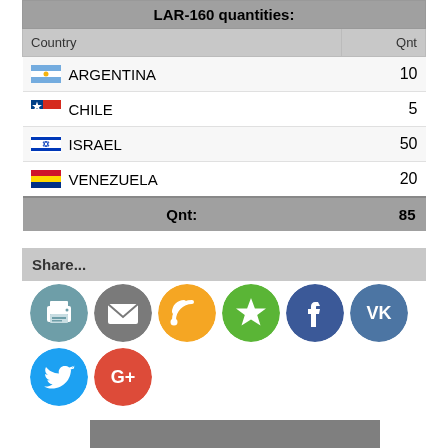| Country | Qnt |
| --- | --- |
| ARGENTINA | 10 |
| CHILE | 5 |
| ISRAEL | 50 |
| VENEZUELA | 20 |
Share...
[Figure (infographic): Social share icons: print, email, RSS, favorites star, Facebook, VKontakte, Twitter, Google+]